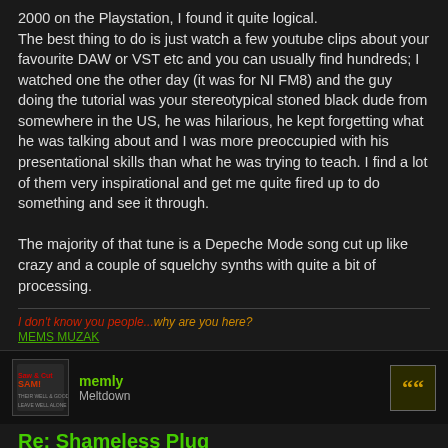2000 on the Playstation, I found it quite logical.
The best thing to do is just watch a few youtube clips about your favourite DAW or VST etc and you can usually find hundreds; I watched one the other day (it was for NI FM8) and the guy doing the tutorial was your stereotypical stoned black dude from somewhere in the US, he was hilarious, he kept forgetting what he was talking about and I was more preoccupied with his presentational skills than what he was trying to teach. I find a lot of them very inspirational and get me quite fired up to do something and see it through.

The majority of that tune is a Depeche Mode song cut up like crazy and a couple of squelchy synths with quite a bit of processing.
I don't know you people...why are you here?
MEMS MUZAK
memly
Meltdown
Re: Shameless Plug
Fri Jan 28, 2011 5:36 pm
Hi peeps, I've added 2 more tunes, "Broken Defibrillator" and "Dischordance", if you get the chance, I'd be grateful for any comments. Thanks